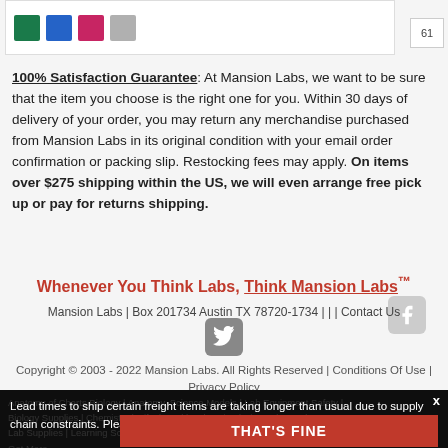[Figure (illustration): Color swatches: green, blue, pink/magenta, gray]
61
100% Satisfaction Guarantee: At Mansion Labs, we want to be sure that the item you choose is the right one for you. Within 30 days of delivery of your order, you may return any merchandise purchased from Mansion Labs in its original condition with your email order confirmation or packing slip. Restocking fees may apply. On items over $275 shipping within the US, we will even arrange free pick up or pay for returns shipping.
Whenever You Think Labs, Think Mansion Labs™
Mansion Labs | Box 201734 Austin TX 78720-1734 | | | Contact Us
Copyright © 2003 - 2022 Mansion Labs. All Rights Reserved | Conditions Of Use | Privacy Policy
Anatomy of Charts Biology, Anatomy, Science Models, Lab Equipment Safety, Biology Supplies, Chemistry, Gifts, Health Education, Kits and more, Lab Supplies, Learning Science, Physics, Science, Training, Get More
Lead times to ship certain freight items are taking longer than usual due to supply chain constraints. Please Contact Us for specific availability.
THAT'S FINE